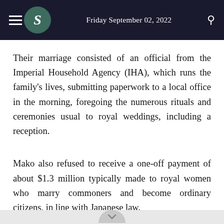Friday September 02, 2022
Their marriage consisted of an official from the Imperial Household Agency (IHA), which runs the family's lives, submitting paperwork to a local office in the morning, foregoing the numerous rituals and ceremonies usual to royal weddings, including a reception.
Mako also refused to receive a one-off payment of about $1.3 million typically made to royal women who marry commoners and become ordinary citizens, in line with Japanese law.